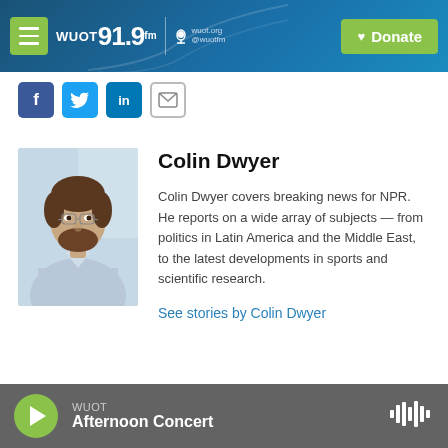WUOT 91.9 FM | wuot.org @wuotfm | Donate
[Figure (photo): Headshot photo of Colin Dwyer, a young man with brown hair and beard wearing a light blue button-up shirt, photographed against a light background]
Colin Dwyer
Colin Dwyer covers breaking news for NPR. He reports on a wide array of subjects — from politics in Latin America and the Middle East, to the latest developments in sports and scientific research.
See stories by Colin Dwyer
WUOT Afternoon Concert